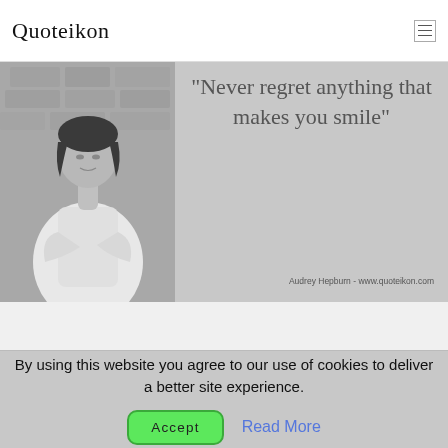Quoteikon
[Figure (photo): Quote image with black and white photo of Audrey Hepburn on the left, and text on grey background: "Never regret anything that makes you smile" with attribution 'Audrey Hepburn - www.quoteikon.com']
By using this website you agree to our use of cookies to deliver a better site experience.
Accept
Read More